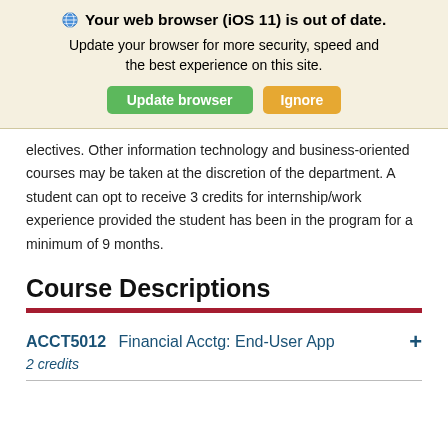🌐 Your web browser (iOS 11) is out of date. Update your browser for more security, speed and the best experience on this site. [Update browser] [Ignore]
electives. Other information technology and business-oriented courses may be taken at the discretion of the department. A student can opt to receive 3 credits for internship/work experience provided the student has been in the program for a minimum of 9 months.
Course Descriptions
ACCT5012   Financial Acctg: End-User App   +
2 credits